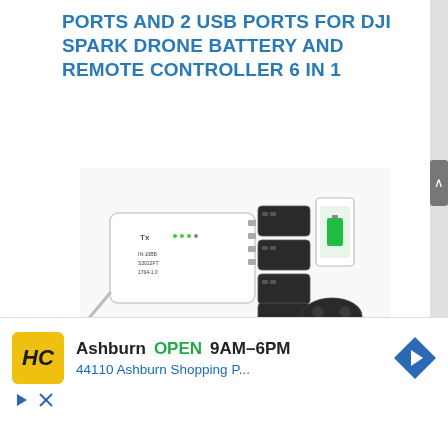PORTS AND 2 USB PORTS FOR DJI SPARK DRONE BATTERY AND REMOTE CONTROLLER 6 IN 1
[Figure (photo): Product photo of a white 6-in-1 DJI Spark drone battery charger hub with multiple black batteries inserted and a phone on the side, along with a DJI remote controller, all connected via USB cables]
6 in 1 battery charger with USB ports is designed specially for DJI Spark Drone battery and remote controller.